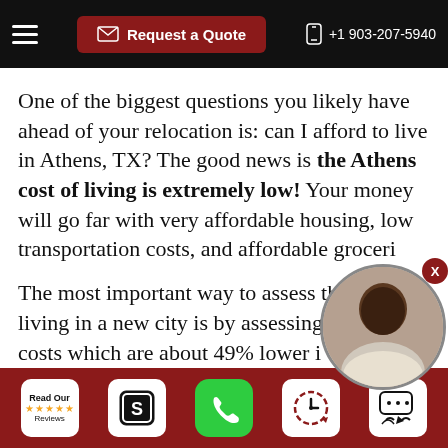Request a Quote  +1 903-207-5940
One of the biggest questions you likely have ahead of your relocation is: can I afford to live in Athens, TX? The good news is the Athens cost of living is extremely low! Your money will go far with very affordable housing, low transportation costs, and affordable groceri...
The most important way to assess the cost of living in a new city is by assessing housing costs which are about 49% lower in Athens than the national average!
[Figure (photo): Circular photo of a person (video chat avatar) overlaid on the text content]
Read Our Reviews | [S icon] | [Phone icon] | [Clock icon] | [Chat icon]